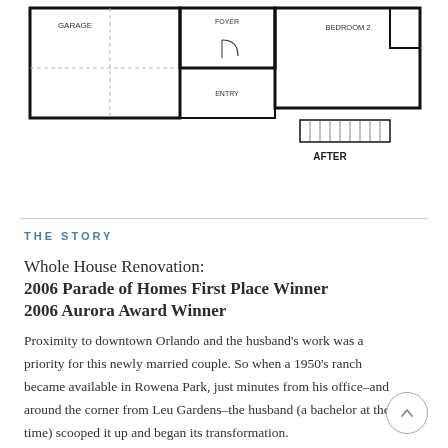[Figure (engineering-diagram): Partial floor plan showing AFTER layout with rooms labeled GARAGE, FOYER, ENTRY, BEDROOM 2, with thick black walls and dashed lines for room divisions.]
THE STORY
Whole House Renovation:
2006 Parade of Homes First Place Winner
2006 Aurora Award Winner
Proximity to downtown Orlando and the husband's work was a priority for this newly married couple. So when a 1950's ranch became available in Rowena Park, just minutes from his office–and around the corner from Leu Gardens–the husband (a bachelor at the time) scooped it up and began its transformation.